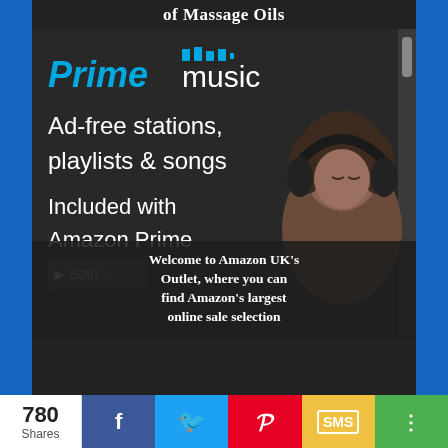of Massage Oils
[Figure (screenshot): Amazon Prime Music advertisement showing logo, 'Ad-free stations, playlists & songs', 'Included with Amazon Prime', and a woman wearing headphones]
Welcome to Amazon UK's Outlet, where you can find Amazon's largest online sale selection
780 Shares
[Figure (other): Social share bar with Facebook, Twitter, Pinterest, SMS, and share buttons showing 780 Shares]